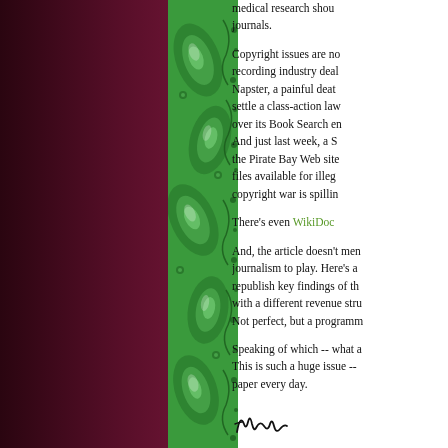[Figure (illustration): Green paisley decorative border pattern on left side of page, with dark maroon/purple background to the far left]
medical research shou journals.
Copyright issues are no recording industry deal Napster, a painful deat settle a class-action law over its Book Search en And just last week, a S the Pirate Bay Web site files available for illeg copyright war is spillin
There's even WikiDoc
And, the article doesn't men journalism to play. Here's a republish key findings of th with a different revenue stru Not perfect, but a programm
Speaking of which -- what a This is such a huge issue -- paper every day.
[Figure (illustration): Handwritten signature reading 'Tim']